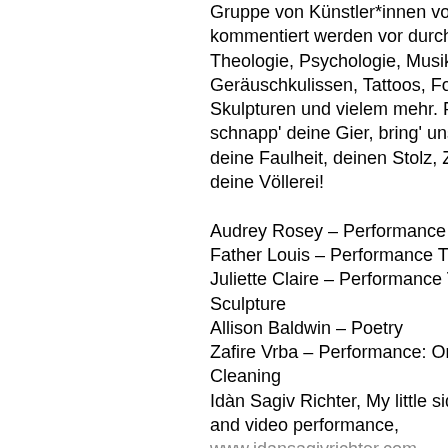Gruppe von Künstler*innen vorgestellt und kommentiert werden vor durch Katho Theologie, Psychologie, Musik, Tanz, Geräuschkulissen, Tattoos, Fotografi Skulpturen und vielem mehr. Pack' d schnapp' deine Gier, bring' uns deine deine Faulheit, deinen Stolz, Zorn u deine Völlerei!

Audrey Rosey – Performance Theat Father Louis – Performance Theatre Juliette Claire – Performance Theatr Sculpture
Allison Baldwin – Poetry
Zafire Vrba – Performance: On Anim Cleaning
Idàn Sagiv Richter, My little sideshov and video performance,
www.idansagivrichter.com
Alexandre Dujardin, Densha Tattoo, Tattoos
Sophie Rusty, S Ruston, DJ, Sounds